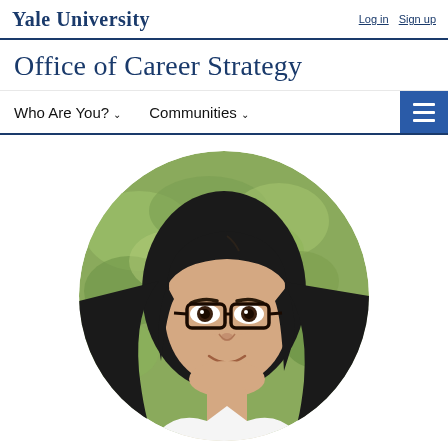Yale University  Login  Sign up
Office of Career Strategy
Who Are You?  Communities
[Figure (photo): Circular profile photo of a young woman with long black hair and black-rimmed glasses, wearing a white top, smiling, with a green leafy background.]